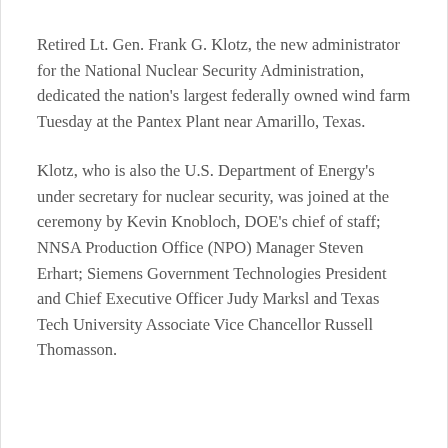Retired Lt. Gen. Frank G. Klotz, the new administrator for the National Nuclear Security Administration, dedicated the nation's largest federally owned wind farm Tuesday at the Pantex Plant near Amarillo, Texas.
Klotz, who is also the U.S. Department of Energy's under secretary for nuclear security, was joined at the ceremony by Kevin Knobloch, DOE's chief of staff; NNSA Production Office (NPO) Manager Steven Erhart; Siemens Government Technologies President and Chief Executive Officer Judy Marksl and Texas Tech University Associate Vice Chancellor Russell Thomasson.